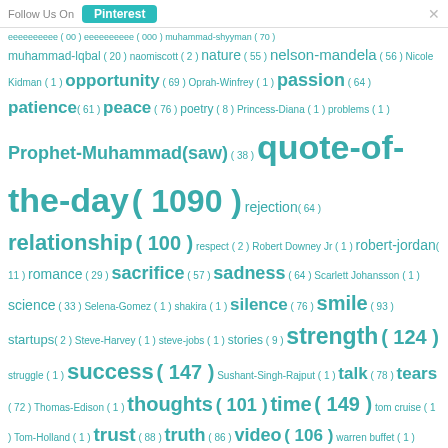Follow Us On Pinterest
muhammad-lqbal (20) naomiscott (2) nature (55) nelson-mandela (56) Nicole Kidman (1) opportunity (69) Oprah-Winfrey (1) passion (64) patience (61) peace (76) poetry (8) Princess-Diana (1) problems (1) Prophet-Muhammad(saw) (38) quote-of-the-day (1090) rejection (64) relationship (100) respect (2) Robert Downey Jr (1) robert-jordan (11) romance (29) sacrifice (57) sadness (64) Scarlett Johansson (1) science (33) Selena-Gomez (1) shakira (1) silence (76) smile (93) startups (2) Steve-Harvey (1) steve-jobs (1) stories (9) strength (124) struggle (1) success (147) Sushant-Singh-Rajput (1) talk (78) tears (72) Thomas-Edison (1) thoughts (101) time (149) tom cruise (1) Tom-Holland (1) trust (88) truth (86) video (106) warren buffet (1) weed (52) William Shakespeare (36) winner (70) wisdom (109) words (95) work (1) ZaynMalik (1) Zendaya (1)
© Quoteistan Powered by: Blogger // Weblogtemplate
21.2k Shares   21.2k